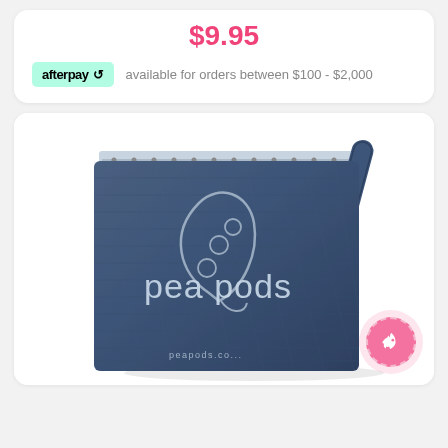$9.95
afterpay  available for orders between $100 - $2,000
[Figure (photo): A denim-style blue fabric zippered wet bag with a wrist strap, branded with the 'pea pods' logo and a pea pod illustration, on a white background.]